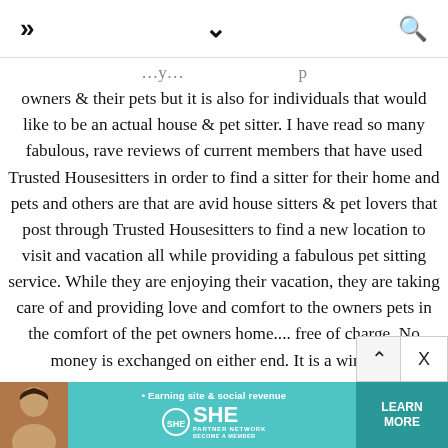» ∨ 🔍
owners & their pets but it is also for individuals that would like to be an actual house & pet sitter. I have read so many fabulous, rave reviews of current members that have used Trusted Housesitters in order to find a sitter for their home and pets and others are that are avid house sitters & pet lovers that post through Trusted Housesitters to find a new location to visit and vacation all while providing a fabulous pet sitting service. While they are enjoying their vacation, they are taking care of and providing love and comfort to the owners pets in the comfort of the pet owners home.... free of charge. No money is exchanged on either end. It is a win win!
[Figure (infographic): SHE Partner Network advertisement banner - teal background with woman photo, tagline 'Earning site & social revenue', SHE logo, LEARN MORE button]